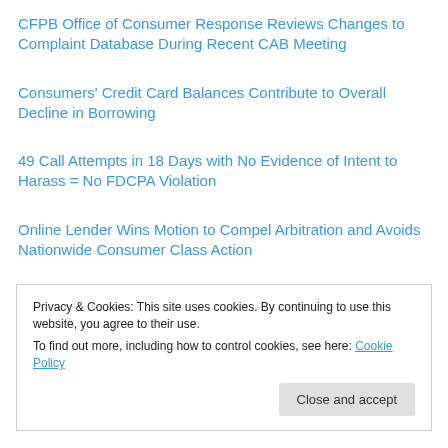CFPB Office of Consumer Response Reviews Changes to Complaint Database During Recent CAB Meeting
Consumers' Credit Card Balances Contribute to Overall Decline in Borrowing
49 Call Attempts in 18 Days with No Evidence of Intent to Harass = No FDCPA Violation
Online Lender Wins Motion to Compel Arbitration and Avoids Nationwide Consumer Class Action
Privacy & Cookies: This site uses cookies. By continuing to use this website, you agree to their use.
To find out more, including how to control cookies, see here: Cookie Policy